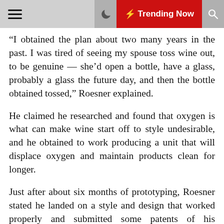Trending Now
“I obtained the plan about two many years in the past. I was tired of seeing my spouse toss wine out, to be genuine — she’d open a bottle, have a glass, probably a glass the future day, and then the bottle obtained tossed,” Roesner explained.
He claimed he researched and found that oxygen is what can make wine start off to style undesirable, and he obtained to work producing a unit that will displace oxygen and maintain products clean for longer.
Just after about six months of prototyping, Roesner stated he landed on a style and design that worked properly and submitted some patents of his engineering. Meanwhile, he started to elevate revenue and appear for buyers.
The FreshDefend gadget is a countertop container that does not involve refrigeration or any chemical compounds. In accordance to Roesner, it can lengthen the